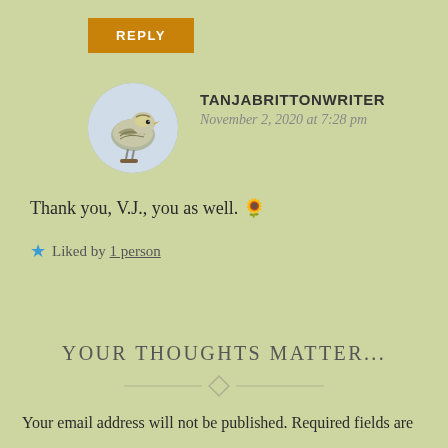REPLY
TANJABRITTONWRITER
November 2, 2020 at 7:28 pm
Thank you, V.J., you as well. 🌻
★ Liked by 1 person
YOUR THOUGHTS MATTER...
Your email address will not be published. Required fields are